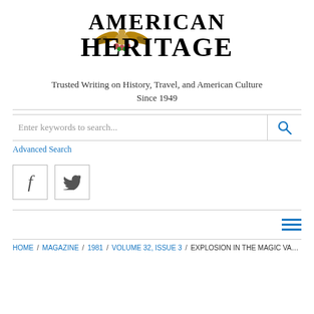[Figure (logo): American Heritage magazine logo with eagle emblem and serif text]
Trusted Writing on History, Travel, and American Culture Since 1949
Enter keywords to search...
Advanced Search
[Figure (illustration): Facebook icon (f) in a bordered square]
[Figure (illustration): Twitter bird icon in a bordered square]
[Figure (other): Hamburger menu icon (three horizontal blue lines)]
HOME / MAGAZINE / 1981 / VOLUME 32, ISSUE 3 / EXPLOSION IN THE MAGIC VALLEY